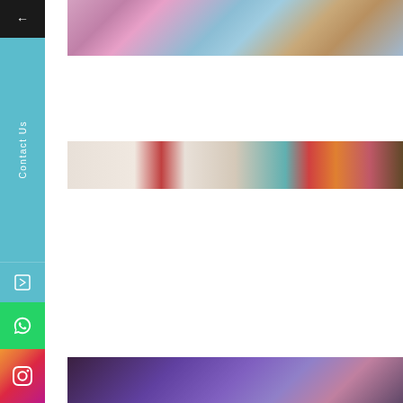[Figure (photo): Top photograph showing colorful traditional/cultural decorations with pink, blue, and golden jewelry elements]
[Figure (other): Left sidebar navigation panel with back arrow (dark), Contact Us label (teal/cyan), arrow icon, WhatsApp icon (green), and Instagram icon (gradient)]
[Figure (photo): Middle photograph showing traditional white dress with red stripe on left and colorful fabric/people on right side]
[Figure (photo): Bottom photograph showing dark scene with purple/violet fabric or clothing]